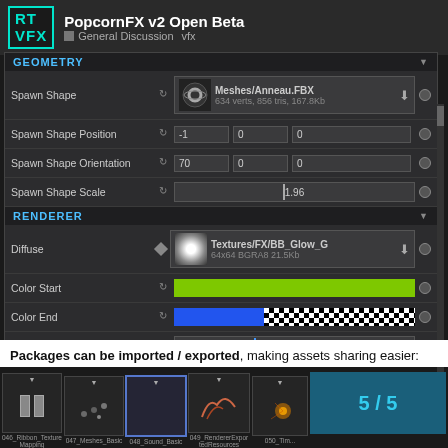RT VFX — PopcornFX v2 Open Beta — General Discussion vfx
[Figure (screenshot): Software UI panel showing GEOMETRY and RENDERER sections with properties: Spawn Shape (Meshes/Anneau.FBX, 634 verts, 856 tris, 167.8Kb), Spawn Shape Position (-1, 0, 0), Spawn Shape Orientation (70, 0, 0), Spawn Shape Scale (1.96), Diffuse (Textures/FX/BB_Glow_G, 64x64 BGRA8 21.5Kb), Color Start (green bar), Color End (blue+checkerboard bar), Color Bias (-0.448)]
Packages can be imported / exported, making assets sharing easier:
[Figure (screenshot): Thumbnail strip showing particle effect previews: 046_Ribbon_TextureMapping, 047_Meshes_Basic, 048_Sound_Basic, 049_RendererExportedResources, 050_Tim... with page counter showing 5 / 5]